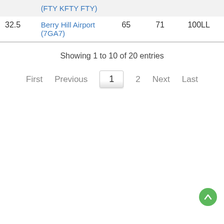|  | (FTY KFTY FTY) |  |  |  |
| 32.5 | Berry Hill Airport (7GA7) | 65 | 71 | 100LL |
Showing 1 to 10 of 20 entries
First  Previous  1  2  Next  Last